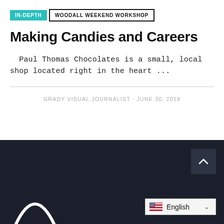IN-DEPTH | WOODALL WEEKEND WORKSHOP
Making Candies and Careers
Paul Thomas Chocolates is a small, local shop located right in the heart ...
GRADY VISUAL JOURNALIST · JUNE 30, 2019